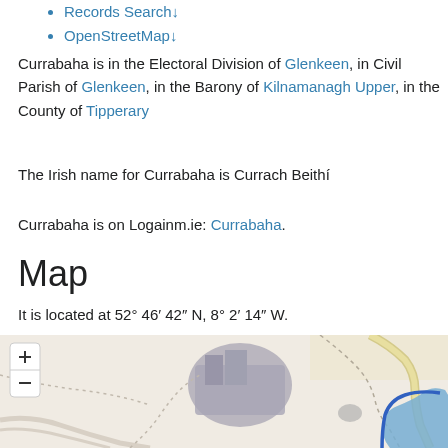Records Search↓
OpenStreetMap↓
Currabaha is in the Electoral Division of Glenkeen, in Civil Parish of Glenkeen, in the Barony of Kilnamanagh Upper, in the County of Tipperary
The Irish name for Currabaha is Currach Beithí
Currabaha is on Logainm.ie: Currabaha.
Map
It is located at 52° 46' 42" N, 8° 2' 14" W.
[Figure (map): OpenStreetMap showing the area around Currabaha, County Tipperary, Ireland. Shows roads, a grey building/structure, blue water body on the right side, and dotted boundary lines. Zoom +/- controls visible top left.]